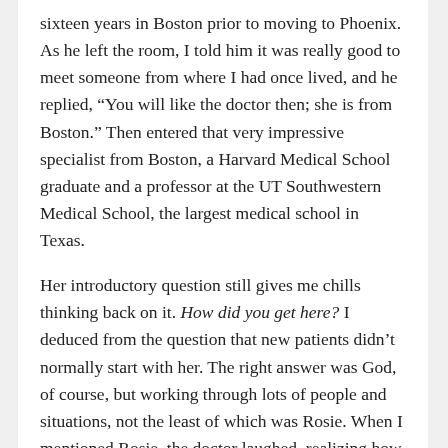sixteen years in Boston prior to moving to Phoenix. As he left the room, I told him it was really good to meet someone from where I had once lived, and he replied, “You will like the doctor then; she is from Boston.” Then entered that very impressive specialist from Boston, a Harvard Medical School graduate and a professor at the UT Southwestern Medical School, the largest medical school in Texas.

Her introductory question still gives me chills thinking back on it. How did you get here? I deduced from the question that new patients didn’t normally start with her. The right answer was God, of course, but working through lots of people and situations, not the least of which was Rosie. When I mentioned Rosie, the doctor laughed, realizing how I got there (from a human perspective). She knew Rosie well it seems. Just amazing, the whole sequence. God didn’t violate my free will – but almost. To say he influenced